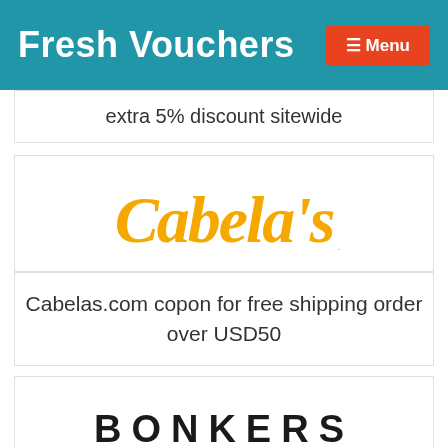Fresh Vouchers  ☰ Menu
extra 5% discount sitewide
[Figure (logo): Cabela's logo in gold/yellow script font]
Cabelas.com copon for free shipping order over USD50
[Figure (logo): BONKERS logo in bold black uppercase letters with wide letter spacing]
Bonkers-Shop.com coupon: up to